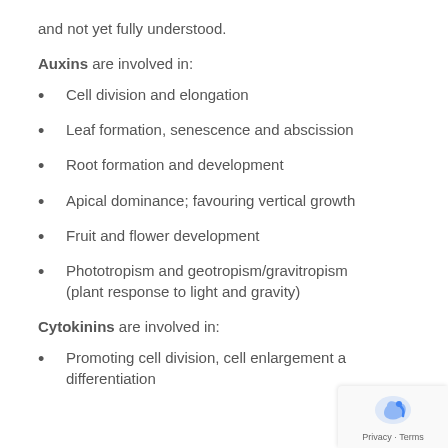and not yet fully understood.
Auxins are involved in:
Cell division and elongation
Leaf formation, senescence and abscission
Root formation and development
Apical dominance; favouring vertical growth
Fruit and flower development
Phototropism and geotropism/gravitropism (plant response to light and gravity)
Cytokinins are involved in:
Promoting cell division, cell enlargement and differentiation